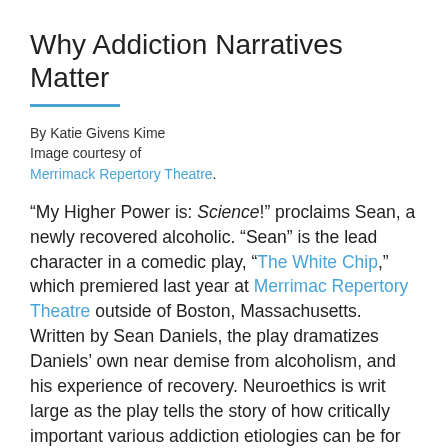Why Addiction Narratives Matter
By Katie Givens Kime
Image courtesy of
Merrimack Repertory Theatre.
“My Higher Power is: Science!” proclaims Sean, a newly recovered alcoholic. “Sean” is the lead character in a comedic play, “The White Chip,” which premiered last year at Merrimac Repertory Theatre outside of Boston, Massachusetts. Written by Sean Daniels, the play dramatizes Daniels’ own near demise from alcoholism, and his experience of recovery. Neuroethics is writ large as the play tells the story of how critically important various addiction etiologies can be for the...